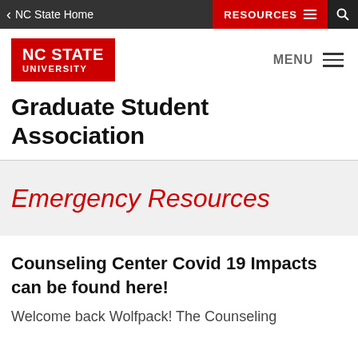< NC State Home | RESOURCES ☰ 🔍
[Figure (logo): NC State University red logo block with white text]
Graduate Student Association
Emergency Resources
Counseling Center Covid 19 Impacts can be found here!
Welcome back Wolfpack! The Counseling